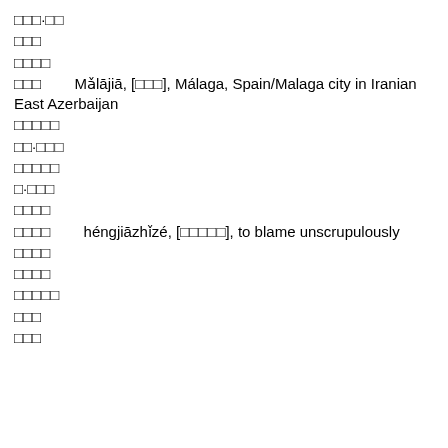□□□·□□
□□□
□□□□
□□□        Mǎlājiā, [□□□], Málaga, Spain/Malaga city in Iranian East Azerbaijan
□□□□□
□□·□□□
□□□□□
□·□□□
□□□□
□□□□        héngjiāzhǐzé, [□□□□□], to blame unscrupulously
□□□□
□□□□
□□□□□
□□□
□□□